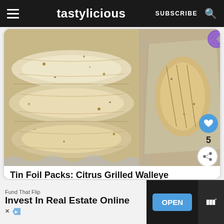tastylicious  SUBSCRIBE
[Figure (photo): Two photos of walleye fish cooked in tin foil packs. Left: close-up of white seasoned fish fillets on foil. Right: scored grilled fish fillet on foil with a blue heart button overlay showing 5 likes and a share button.]
Tin Foil Packs: Citrus Grilled Walleye
The Taylor House
Tin Foil Packs: Citrus Grilled Walleye
WHAT'S NEXT → Pan-Fried Walleye
Fund That Flip
Invest In Real Estate Online
OPEN